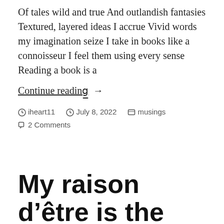Of tales wild and true And outlandish fantasies Textured, layered ideas I accrue Vivid words my imagination seize I take in books like a connoisseur I feel them using every sense Reading a book is a
Continue reading →
iheart11  July 8, 2022  musings  2 Comments
My raison d'être is the reason..